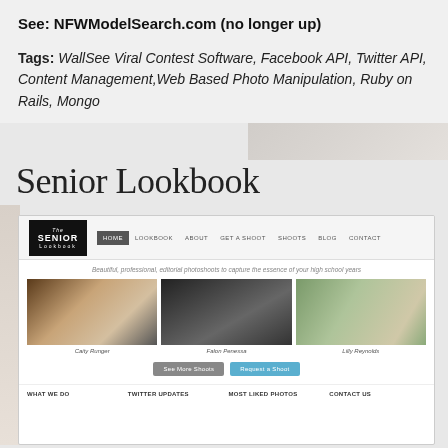See: NFWModelSearch.com (no longer up)
Tags: WallSee Viral Contest Software, Facebook API, Twitter API, Content Management, Web Based Photo Manipulation, Ruby on Rails, Mongo
Senior Lookbook
[Figure (screenshot): Screenshot of The Senior Lookbook website showing navigation bar with HOME, LOOKBOOK, ABOUT, GET A SHOOT, SHOOTS, BLOG, CONTACT links, three model photos labeled Caity Runger, Falon Penessa, Lilly Reynolds, action buttons, and footer navigation with What We Do, Twitter Updates, Most Liked Photos, Contact Us.]